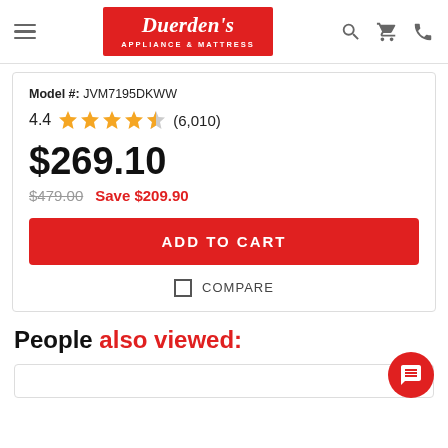[Figure (logo): Duerden's Appliance & Mattress logo — white text on red background]
Model #: JVM7195DKWW
4.4 ★★★★☆ (6,010)
$269.10
$479.00  Save $209.90
ADD TO CART
COMPARE
People also viewed: